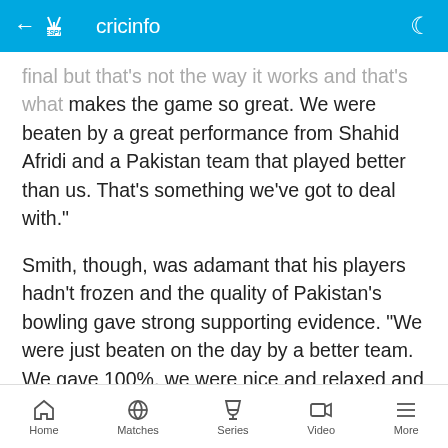ESPN cricinfo
final but that's not the way it works and that's what makes the game so great. We were beaten by a great performance from Shahid Afridi and a Pakistan team that played better than us. That's something we've got to deal with."
Smith, though, was adamant that his players hadn't frozen and the quality of Pakistan's bowling gave strong supporting evidence. "We were just beaten on the day by a better team. We gave 100%, we were nice and relaxed and we were beaten and that's the sad reality for us and we'll come back next time and give our best again."
Home  Matches  Series  Video  More